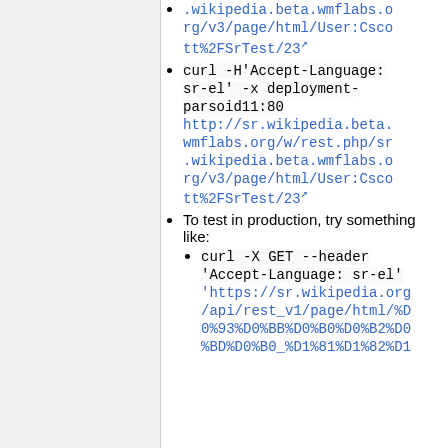.wikipedia.beta.wmflabs.org/v3/page/html/User:Cscott%2FSrTest/23
curl -H'Accept-Language: sr-el' -x deployment-parsoid11:80 http://sr.wikipedia.beta.wmflabs.org/w/rest.php/sr.wikipedia.beta.wmflabs.org/v3/page/html/User:Cscott%2FSrTest/23
To test in production, try something like:
curl -X GET --header 'Accept-Language: sr-el' 'https://sr.wikipedia.org/api/rest_v1/page/html/%D0%93%D0%BB%D0%B0%D0%B2%D0%BD%D0%B0_%D1%81%D1%82%D1